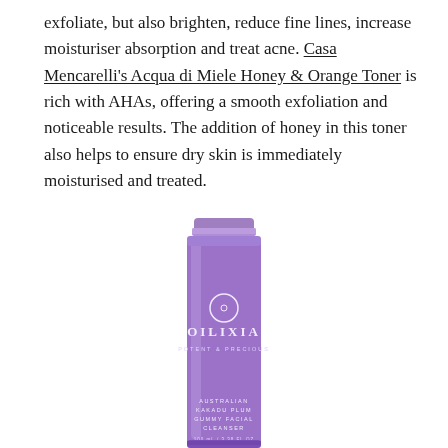exfoliate, but also brighten, reduce fine lines, increase moisturiser absorption and treat acne. Casa Mencarelli's Acqua di Miele Honey & Orange Toner is rich with AHAs, offering a smooth exfoliation and noticeable results. The addition of honey in this toner also helps to ensure dry skin is immediately moisturised and treated.
[Figure (photo): Purple squeeze tube product: Oilixia Potent & Precious Australian Kakadu Plum Gummy Facial Cleanser, shown vertically centered on white background]